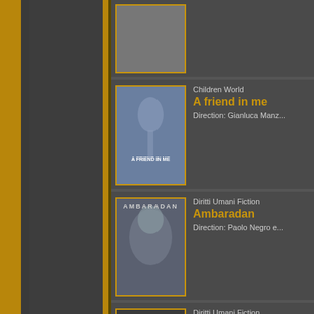[Figure (other): Film listing card - partially visible at top]
[Figure (other): Film poster for 'A friend in me']
Children World
A friend in me
Direction: Gianluca Manz...
[Figure (other): Film poster for 'Ambaradan']
Diritti Umani Fiction
Ambaradan
Direction: Paolo Negro e...
[Figure (other): Film poster for 'Are you volleyball?']
Diritti Umani Fiction
Are you volleyball...
Direction: Mohammad B...